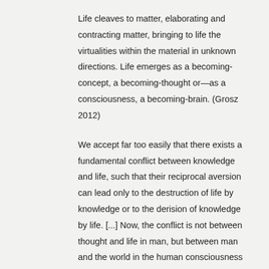Life cleaves to matter, elaborating and contracting matter, bringing to life the virtualities within the material in unknown directions. Life emerges as a becoming-concept, a becoming-thought or—as a consciousness, a becoming-brain. (Grosz 2012)
We accept far too easily that there exists a fundamental conflict between knowledge and life, such that their reciprocal aversion can lead only to the destruction of life by knowledge or to the derision of knowledge by life. [...] Now, the conflict is not between thought and life in man, but between man and the world in the human consciousness of life. [...] It is not true that knowledge destroys life. (Canguilhem 1965)